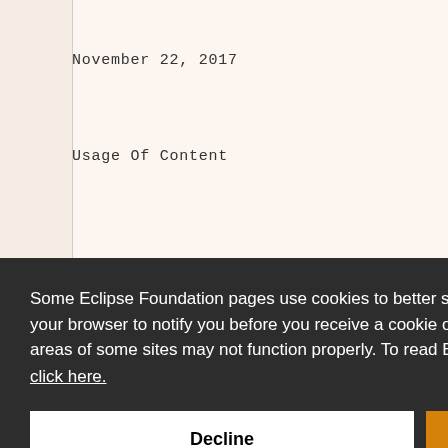November 22, 2017
Usage Of Content
AVAILABL
EN SOUR
E TERMS
SE AGRE
YOU AGR
TERMS A
ED OR R
AGREEME
OR NOTI
Some Eclipse Foundation pages use cookies to better serve you when you return to the site. You can set your browser to notify you before you receive a cookie or turn off cookies. If you do so, however, some areas of some sites may not function properly. To read Eclipse Foundation Privacy Policy click here.
ll Conte
is provided to you under the terms